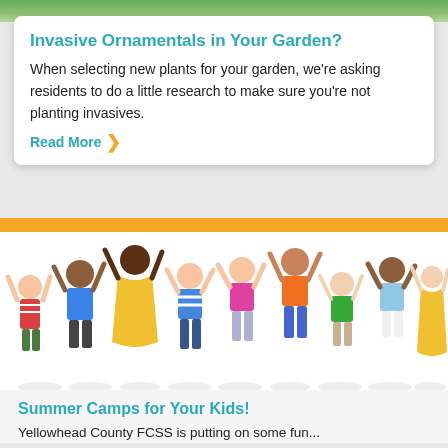[Figure (photo): Green foliage banner image at the top of the page]
Invasive Ornamentals in Your Garden?
When selecting new plants for your garden, we're asking residents to do a little research to make sure you're not planting invasives.
Read More ❯
[Figure (photo): Group of diverse children jumping and celebrating with arms raised, on a white background, below an orange banner bar]
Summer Camps for Your Kids!
Yellowhead County FCSS is putting on some fun...